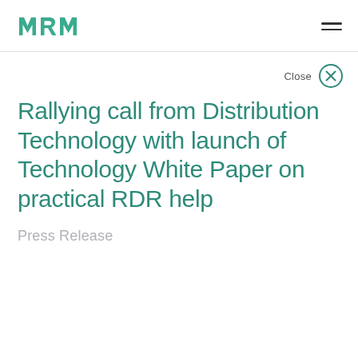MRM
Close
Rallying call from Distribution Technology with launch of Technology White Paper on practical RDR help
Press Release